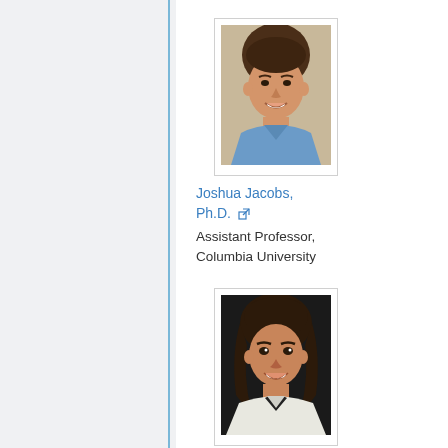[Figure (photo): Headshot photo of Joshua Jacobs, a young man smiling, wearing a blue collared shirt]
Joshua Jacobs, Ph.D. [external link icon]
Assistant Professor, Columbia University
[Figure (photo): Headshot photo of Ilana Jerud, a young woman with long dark hair, smiling]
Ilana Jerud, M.D.